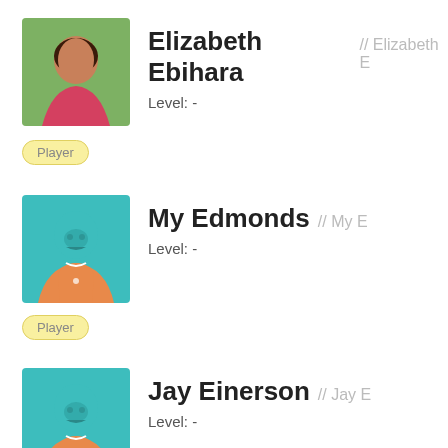[Figure (photo): Profile photo of Elizabeth Ebihara, a woman outdoors]
Elizabeth Ebihara // Elizabeth E
Level: -
Player
[Figure (illustration): Generic avatar icon with teal background and orange jersey]
My Edmonds // My E
Level: -
Player
[Figure (illustration): Generic avatar icon with teal background and orange jersey]
Jay Einerson // Jay E
Level: -
Player